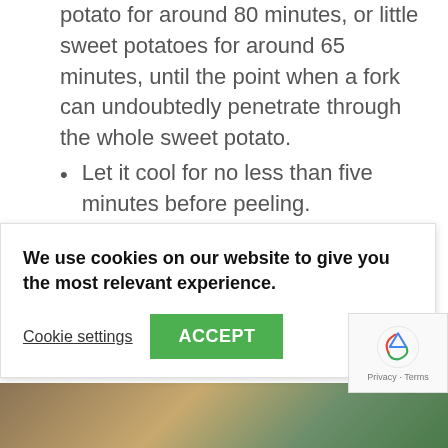potato for around 80 minutes, or little sweet potatoes for around 65 minutes, until the point when a fork can undoubtedly penetrate through the whole sweet potato.
Let it cool for no less than five minutes before peeling.
Peel cooled sweet potato and gently pound with cinnamon and honey (or half of a squashed banana).
Top with raisins and chopped almonds and …ant. In the …mediately, …ast
We use cookies on our website to give you the most relevant experience.
Cookie settings   ACCEPT